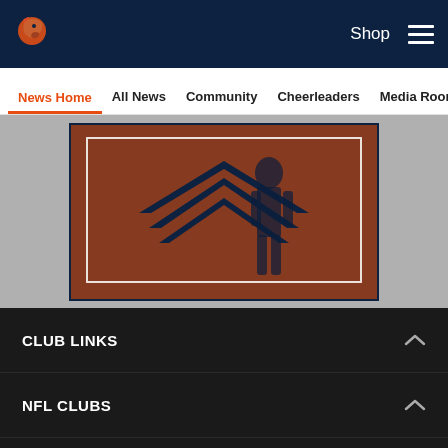Denver Broncos navigation: Shop, Menu
News Home | All News | Community | Cheerleaders | Media Room
[Figure (photo): Orange and navy Denver Broncos themed image with chevron/stripe logo and silhouette of a player, framed with white inner border on dark navy background]
CLUB LINKS
NFL CLUBS
MORE NFL SITES
Download apps
[Figure (screenshot): Download on the App Store button]
[Figure (infographic): Social share icons: Facebook, Twitter, Email, Link]